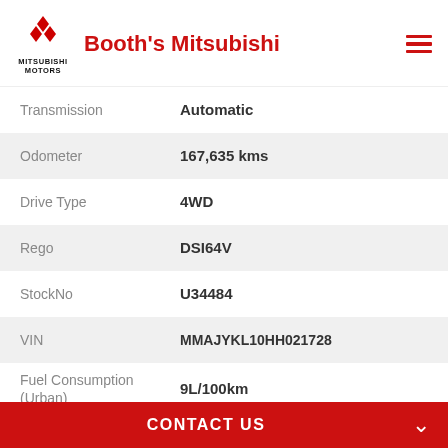[Figure (logo): Mitsubishi Motors logo with three red diamond shapes and text MITSUBISHI MOTORS below]
Booth's Mitsubishi
| Field | Value |
| --- | --- |
| Transmission | Automatic |
| Odometer | 167,635 kms |
| Drive Type | 4WD |
| Rego | DSI64V |
| StockNo | U34484 |
| VIN | MMAJYKL10HH021728 |
| Fuel Consumption (Urban) | 9L/100km |
| Fuel Consumption | 6.8L/100km |
CONTACT US